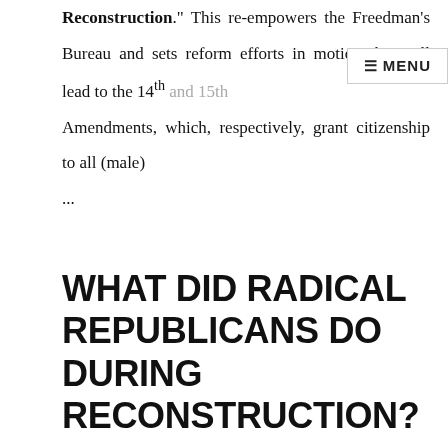Reconstruction." This re-empowers the Freedman's Bureau and sets reform efforts in motion that will lead to the 14th and 15th Amendments, which, respectively, grant citizenship to all (male) ...
WHAT DID RADICAL REPUBLICANS DO DURING RECONSTRUCTION?
The Radical Republicans' most important measures were contained in the Reconstruction Acts of 1867 and 1868, which placed the Southern states under military government and required universal manhood suffrage. Despite the Radical program, however, white control over Southern state governments